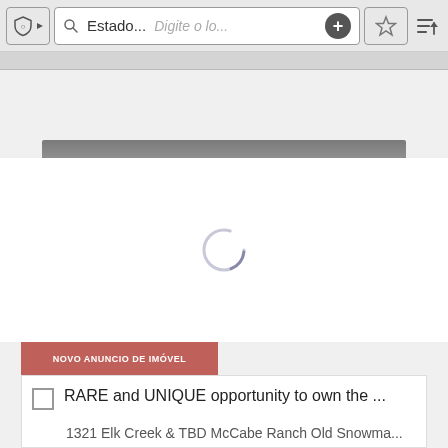[Figure (screenshot): Mobile app search bar with shield icon, search field showing 'Estado...' and placeholder 'Digite o lo...', plus button, star/favorites button, and sort button]
[Figure (screenshot): Dark gradient toolbar with icons: video play, photos, contact card, map, and a star/favorite icon on the right]
[Figure (screenshot): Loading spinner (circular arrow) in white area indicating content is loading]
NOVO ANUNCIO DE IMÓVEL
RARE and UNIQUE opportunity to own the ...
1321 Elk Creek & TBD McCabe Ranch Old Snowma...